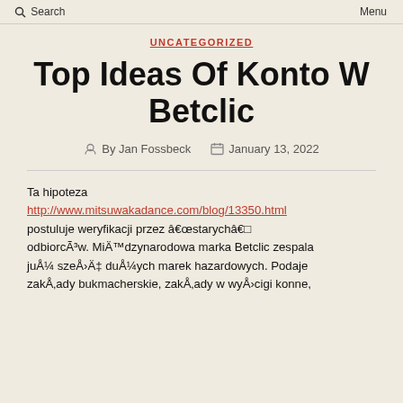Search   Menu
UNCATEGORIZED
Top Ideas Of Konto W Betclic
By Jan Fossbeck   January 13, 2022
Ta hipoteza http://www.mitsuwakadance.com/blog/13350.html postuluje weryfikacji przez â€œstarychâ€¯ odbiorcÃ³w. MiÄ™dzynarodowa marka Betclic zespala juÅ¼ szeÅ›Ä‡ duÅ¼ych marek hazardowych. Podaje zakÅ‚ady bukmacherskie, zakÅ‚ady w wyÅ›cigi konne, a także inne gry hazardowe.